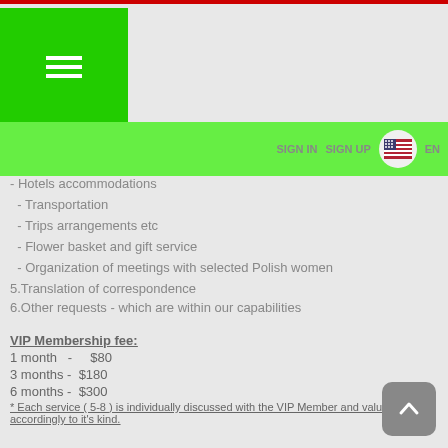Navigation header with green menu and SIGN IN / SIGN UP / EN
- Hotels  accommodations
- Transportation
- Trips arrangements etc
- Flower basket and gift service
- Organization of meetings with selected Polish women
5.Translation of correspondence
6.Other requests - which are within our capabilities
VIP Membership fee:
1 month  -    $80
3 months -  $180
6 months -  $300
* Each service ( 5-8 ) is individually discussed with the VIP Member and valued accordingly to it's kind.